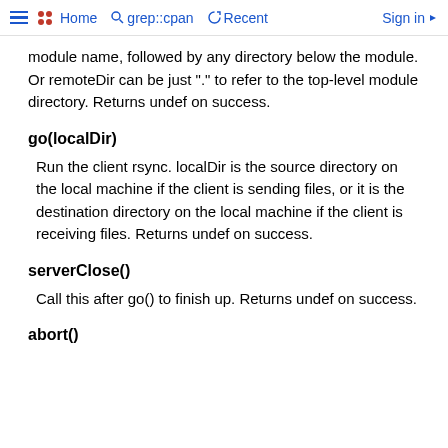Home  grep::cpan  Recent  Sign in
module name, followed by any directory below the module. Or remoteDir can be just "." to refer to the top-level module directory. Returns undef on success.
go(localDir)
Run the client rsync. localDir is the source directory on the local machine if the client is sending files, or it is the destination directory on the local machine if the client is receiving files. Returns undef on success.
serverClose()
Call this after go() to finish up. Returns undef on success.
abort()